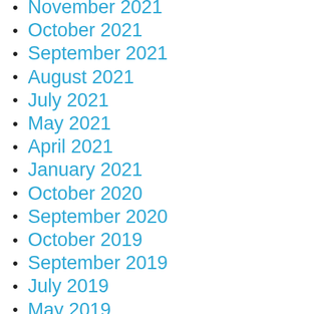November 2021
October 2021
September 2021
August 2021
July 2021
May 2021
April 2021
January 2021
October 2020
September 2020
October 2019
September 2019
July 2019
May 2019
February 2019
December 2018
November 2018